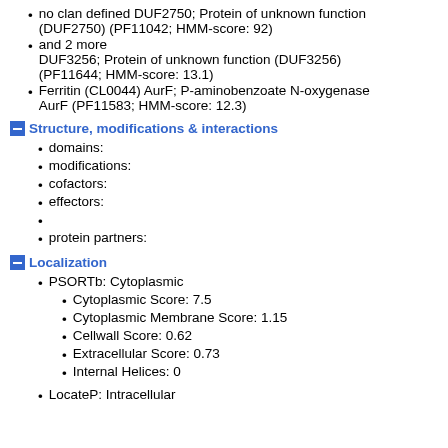no clan defined DUF2750; Protein of unknown function (DUF2750) (PF11042; HMM-score: 92)
and 2 more DUF3256; Protein of unknown function (DUF3256) (PF11644; HMM-score: 13.1)
Ferritin (CL0044) AurF; P-aminobenzoate N-oxygenase AurF (PF11583; HMM-score: 12.3)
Structure, modifications & interactions
domains:
modifications:
cofactors:
effectors:
protein partners:
Localization
PSORTb: Cytoplasmic
Cytoplasmic Score: 7.5
Cytoplasmic Membrane Score: 1.15
Cellwall Score: 0.62
Extracellular Score: 0.73
Internal Helices: 0
LocateP: Intracellular